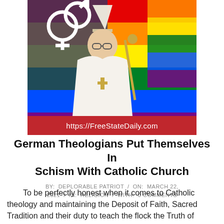[Figure (photo): A bishop or Catholic clergy figure in white vestments and mitre, holding a staff, set against a rainbow Pride flag background with gender symbols visible]
https://FreeStateDaily.com
German Theologians Put Themselves In Schism With Catholic Church
BY: DEPLORABLE PATRIOT / ON: MARCH 22, 2021 / IN: RELIGION / WITH: 0 COMMENTS
To be perfectly honest when it comes to Catholic theology and maintaining the Deposit of Faith, Sacred Tradition and their duty to teach the flock the Truth of Christ, theologians coming out